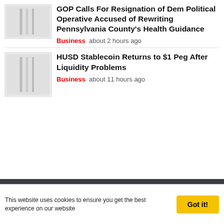[Figure (other): Thumbnail placeholder image with gray bars for first article]
GOP Calls For Resignation of Dem Political Operative Accused of Rewriting Pennsylvania County's Health Guidance
Business   about 2 hours ago
[Figure (other): Thumbnail placeholder image with gray bars for second article]
HUSD Stablecoin Returns to $1 Peg After Liquidity Problems
Business   about 11 hours ago
This website uses cookies to ensure you get the best experience on our website
Got it!